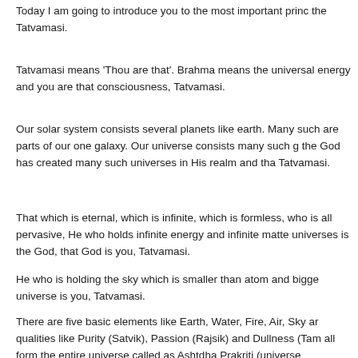Today I am going to introduce you to the most important principle, the Tatvamasi.
Tatvamasi means 'Thou are that'. Brahma means the universal energy and you are that consciousness, Tatvamasi.
Our solar system consists several planets like earth. Many such are parts of our one galaxy. Our universe consists many such galaxies, the God has created many such universes in His realm and that is Tatvamasi.
That which is eternal, which is infinite, which is formless, who is all pervasive, He who holds infinite energy and infinite matter of universes is the God, that God is you, Tatvamasi.
He who is holding the sky which is smaller than atom and bigger universe is you, Tatvamasi.
There are five basic elements like Earth, Water, Fire, Air, Sky and qualities like Purity (Satvik), Passion (Rajsik) and Dullness (Tamas), all form the entire universe called as Ashtdha Prakriti (universe).